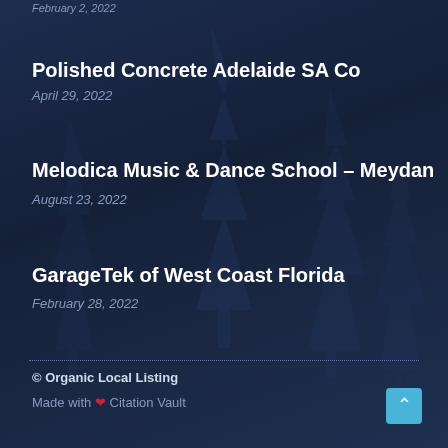February 2, 2022
Polished Concrete Adelaide SA Co
April 29, 2022
Melodica Music & Dance School – Meydan
August 23, 2022
GarageTek of West Coast Florida
February 28, 2022
© Organic Local Listing
Made with ❤ Citation Vault